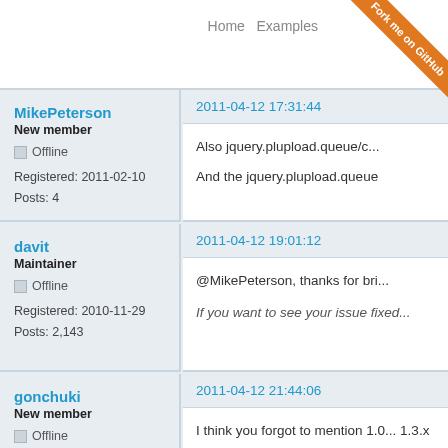Home   Examples
Fork me on GitHub
MikePeterson
New member
Offline
Registered: 2011-02-10
Posts: 4
2011-04-12 17:31:44
Also jquery.plupload.queue/c...
And the jquery.plupload.queue
davit
Maintainer
Offline
Registered: 2010-11-29
Posts: 2,143
2011-04-12 19:01:12
@MikePeterson, thanks for bri...
If you want to see your issue fixed...
gonchuki
New member
Offline
Registered: 2011-04-12
Posts: 3
2011-04-12 21:44:06
I think you forgot to mention 1.0... 1.3.x and 1.4.2
[1] https://github.com/moxieco...